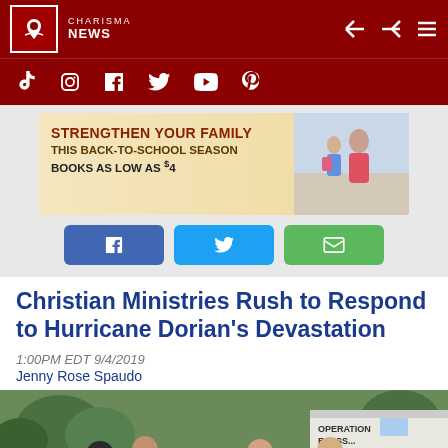CHARISMA NEWS
[Figure (screenshot): Social media icon bar with TikTok, Instagram, Facebook, Twitter, YouTube, Pinterest icons on dark red background]
[Figure (photo): Advertisement banner: STRENGTHEN YOUR FAMILY THIS BACK-TO-SCHOOL SEASON BOOKS AS LOW AS $4, with a mother and daughter image]
[Figure (screenshot): Share buttons: Facebook (blue), Twitter (cyan), Email (green)]
Christian Ministries Rush to Respond to Hurricane Dorian's Devastation
1:00PM EDT 9/4/2019
Jenny Rose Spaudo
[Figure (photo): Group of people wearing blue Operation shirts praying together in a circle outdoors, with a truck visible in background with partial text 'OPERATION BLESS...']